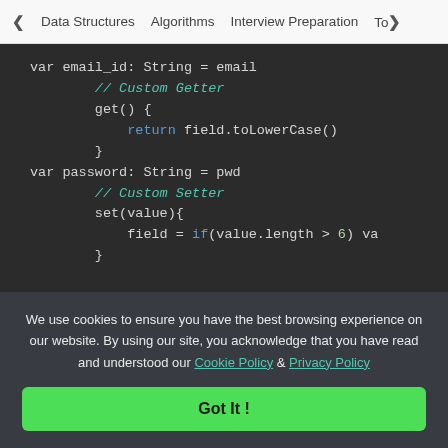< Data Structures   Algorithms   Interview Preparation   To>
[Figure (screenshot): Code editor showing Swift/Kotlin class property definitions with custom getter and setter for email_id, password, and age fields on dark background]
We use cookies to ensure you have the best browsing experience on our website. By using our site, you acknowledge that you have read and understood our Cookie Policy & Privacy Policy
Got It !